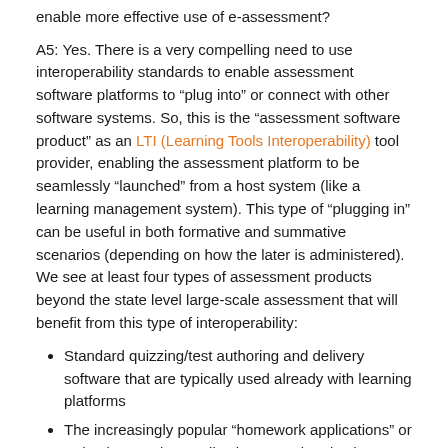enable more effective use of e-assessment?
A5: Yes. There is a very compelling need to use interoperability standards to enable assessment software platforms to “plug into” or connect with other software systems. So, this is the “assessment software product” as an LTI (Learning Tools Interoperability) tool provider, enabling the assessment platform to be seamlessly “launched” from a host system (like a learning management system). This type of “plugging in” can be useful in both formative and summative scenarios (depending on how the later is administered). We see at least four types of assessment products beyond the state level large-scale assessment that will benefit from this type of interoperability:
Standard quizzing/test authoring and delivery software that are typically used already with learning platforms
The increasingly popular “homework applications” or “adaptive tutoring applications” can be also be viewed as formative assessment platforms.
Classroom test creation and scoring systems – yes,